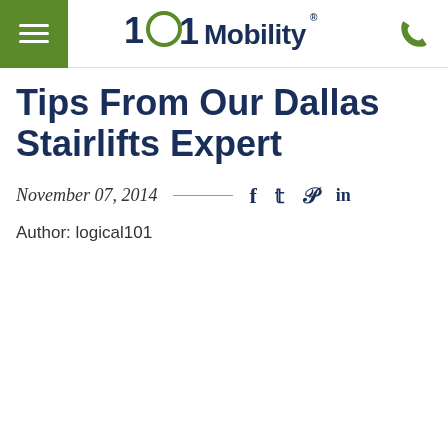101 Mobility
Tips From Our Dallas Stairlifts Expert
November 07, 2014
Author: logical101